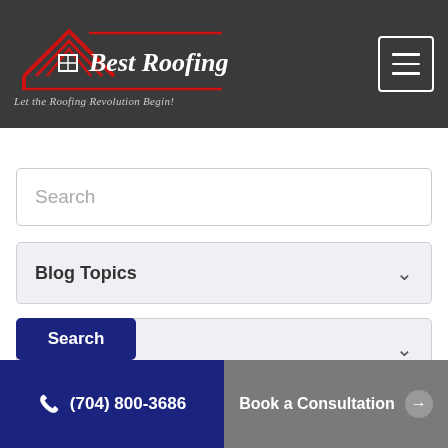[Figure (logo): Best Roofing Now logo with house icon in red and white text on dark background. Tagline: Let the Roofing Revolution Begin!]
Search
Blog Topics
Archives
Search
(704) 800-3686
Book a Consultation